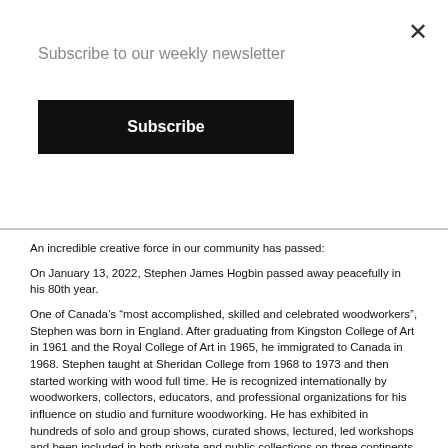Subscribe to our weekly newsletter
Subscribe
An incredible creative force in our community has passed:
On January 13, 2022, Stephen James Hogbin passed away peacefully in his 80th year.
One of Canada’s “most accomplished, skilled and celebrated woodworkers”, Stephen was born in England. After graduating from Kingston College of Art in 1961 and the Royal College of Art in 1965, he immigrated to Canada in 1968. Stephen taught at Sheridan College from 1968 to 1973 and then started working with wood full time. He is recognized internationally by woodworkers, collectors, educators, and professional organizations for his influence on studio and furniture woodworking. He has exhibited in hundreds of solo and group shows, curated shows, lectured, led workshops and been included in both private and public collections on three continents.
After spending years in Kilsyth and then Lake Charles, in 2016 he opened Intersections Wood Gallery & Studio in downtown Owen Sound where he invited people with an interest in wood to come together and learn. Intersections included a gallery, woodworking studio, resource library, and artist-in-residence program.